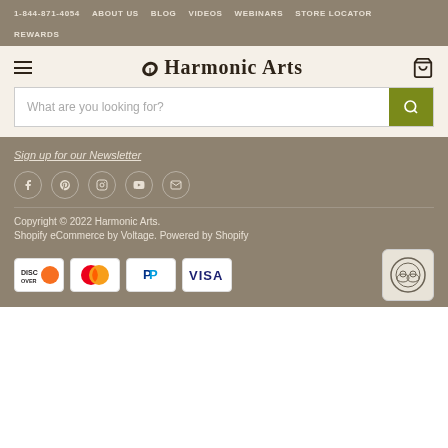1-844-871-4054  ABOUT US  BLOG  VIDEOS  WEBINARS  STORE LOCATOR  REWARDS
[Figure (logo): Harmonic Arts logo with leaf and cart icon]
What are you looking for?
Sign up for our Newsletter
[Figure (illustration): Social media icons: Facebook, Pinterest, Instagram, YouTube, Email]
Copyright © 2022 Harmonic Arts. Shopify eCommerce by Voltage. Powered by Shopify
[Figure (other): Payment method badges: Discover, Mastercard, PayPal, Visa; and a certification badge]